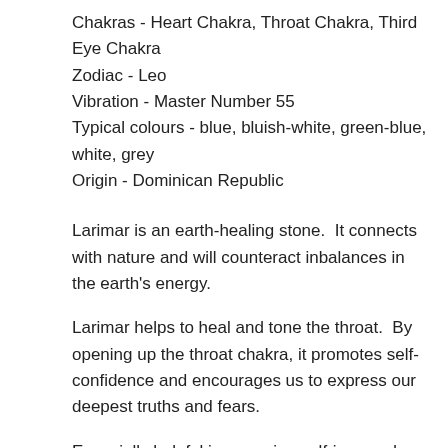Chakras - Heart Chakra, Throat Chakra, Third Eye Chakra
Zodiac - Leo
Vibration - Master Number 55
Typical colours - blue, bluish-white, green-blue, white, grey
Origin - Dominican Republic
Larimar is an earth-healing stone.  It connects with nature and will counteract inbalances in the earth's energy.
Larimar helps to heal and tone the throat.  By opening up the throat chakra, it promotes self-confidence and encourages us to express our deepest truths and fears.
Especially helpful in removing self-imposed